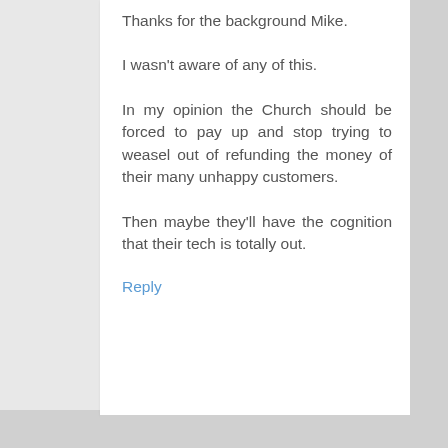Thanks for the background Mike.
I wasn't aware of any of this.
In my opinion the Church should be forced to pay up and stop trying to weasel out of refunding the money of their many unhappy customers.
Then maybe they'll have the cognition that their tech is totally out.
Reply